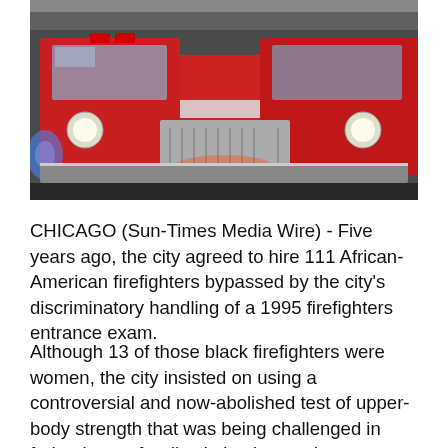[Figure (photo): Red Chicago fire engine truck photographed from the front-left angle, showing the cab, lights, and chrome details.]
CHICAGO (Sun-Times Media Wire) - Five years ago, the city agreed to hire 111 African-American firefighters bypassed by the city's discriminatory handling of a 1995 firefighters entrance exam.
Although 13 of those black firefighters were women, the city insisted on using a controversial and now-abolished test of upper-body strength that was being challenged in federal court for discriminating against women.
Now, Chicago taxpayers are paying a $3.8 million price for that decision in the form of back pension